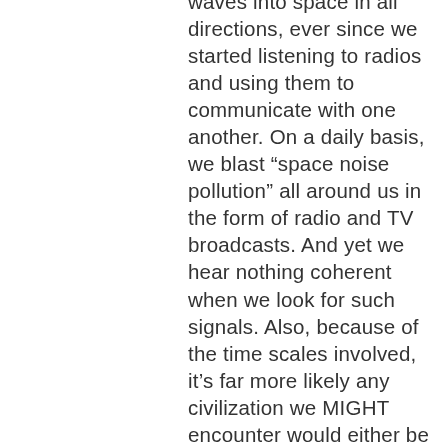waves into space in all directions, ever since we started listening to radios and using them to communicate with one another. On a daily basis, we blast “space noise pollution” all around us in the form of radio and TV broadcasts. And yet we hear nothing coherent when we look for such signals. Also, because of the time scales involved, it’s far more likely any civilization we MIGHT encounter would either be vastly more primitive than we are, or vastly superior technologically. If they even had a thousand years on us,